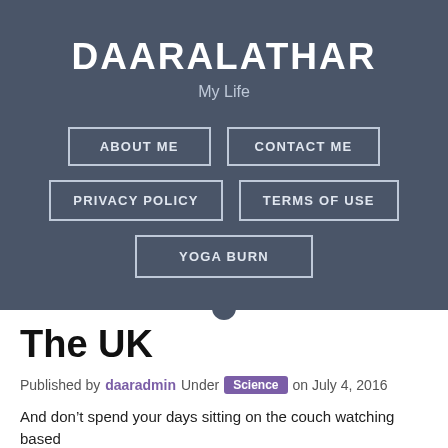DAARALATHAR
My Life
ABOUT ME
CONTACT ME
PRIVACY POLICY
TERMS OF USE
YOGA BURN
The UK
Published by daaradmin Under Science on July 4, 2016
And don’t spend your days sitting on the couch watching based